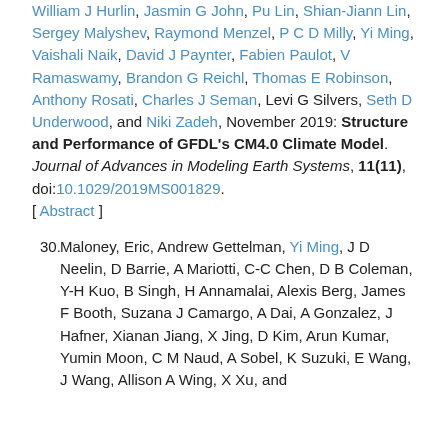William J Hurlin, Jasmin G John, Pu Lin, Shian-Jiann Lin, Sergey Malyshev, Raymond Menzel, P C D Milly, Yi Ming, Vaishali Naik, David J Paynter, Fabien Paulot, V Ramaswamy, Brandon G Reichl, Thomas E Robinson, Anthony Rosati, Charles J Seman, Levi G Silvers, Seth D Underwood, and Niki Zadeh, November 2019: Structure and Performance of GFDL's CM4.0 Climate Model. Journal of Advances in Modeling Earth Systems, 11(11), doi:10.1029/2019MS001829. [ Abstract ]
30. Maloney, Eric, Andrew Gettelman, Yi Ming, J D Neelin, D Barrie, A Mariotti, C-C Chen, D B Coleman, Y-H Kuo, B Singh, H Annamalai, Alexis Berg, James F Booth, Suzana J Camargo, A Dai, A Gonzalez, J Hafner, Xianan Jiang, X Jing, D Kim, Arun Kumar, Yumin Moon, C M Naud, A Sobel, K Suzuki, E Wang, J Wang, Allison A Wing, X Xu, and